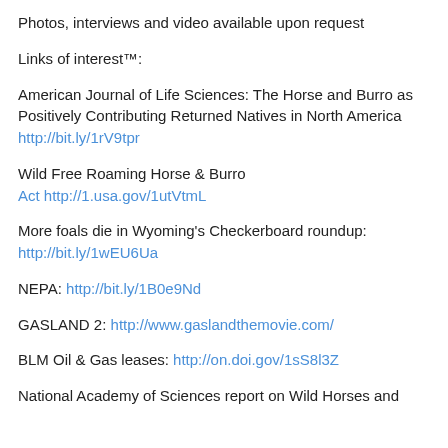Photos, interviews and video available upon request
Links of interest™:
American Journal of Life Sciences: The Horse and Burro as Positively Contributing Returned Natives in North America http://bit.ly/1rV9tpr
Wild Free Roaming Horse & Burro Act http://1.usa.gov/1utVtmL
More foals die in Wyoming's Checkerboard roundup: http://bit.ly/1wEU6Ua
NEPA: http://bit.ly/1B0e9Nd
GASLAND 2: http://www.gaslandthemovie.com/
BLM Oil & Gas leases: http://on.doi.gov/1sS8l3Z
National Academy of Sciences report on Wild Horses and